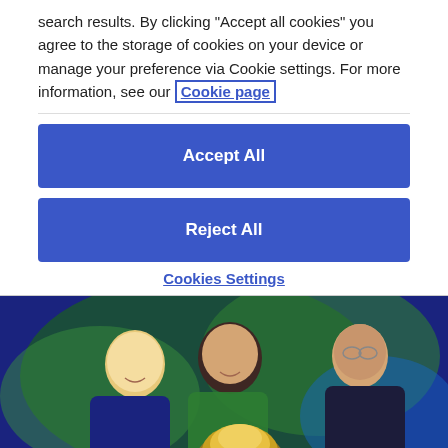search results. By clicking "Accept all cookies" you agree to the storage of cookies on your device or manage your preference via Cookie settings. For more information, see our Cookie page
Accept All
Reject All
Cookies Settings
[Figure (photo): Three people at an event, two women and one man with glasses, smiling and holding a golden award/trophy, with a blue and green foliage background.]